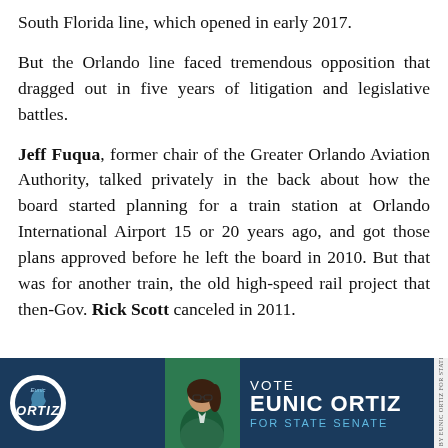South Florida line, which opened in early 2017.
But the Orlando line faced tremendous opposition that dragged out in five years of litigation and legislative battles.
Jeff Fuqua, former chair of the Greater Orlando Aviation Authority, talked privately in the back about how the board started planning for a train station at Orlando International Airport 15 or 20 years ago, and got those plans approved before he left the board in 2010. But that was for another train, the old high-speed rail project that then-Gov. Rick Scott canceled in 2011.
[Figure (infographic): Political campaign advertisement for Eunic Ortiz for State Senate, featuring the candidate's photo, 'ORTIZ' branding, and text 'VOTE EUNIC ORTIZ FOR STATE SENATE']